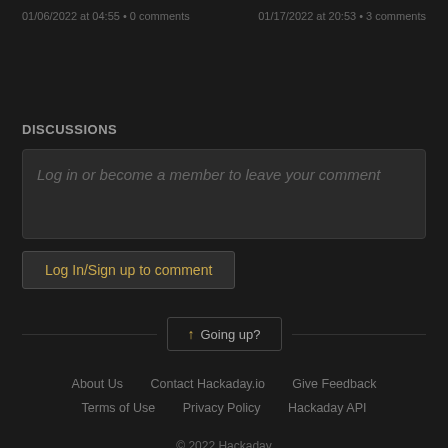01/06/2022 at 04:55 • 0 comments   01/17/2022 at 20:53 • 3 comments
DISCUSSIONS
Log in or become a member to leave your comment
Log In/Sign up to comment
↑ Going up?
About Us   Contact Hackaday.io   Give Feedback   Terms of Use   Privacy Policy   Hackaday API   © 2022 Hackaday